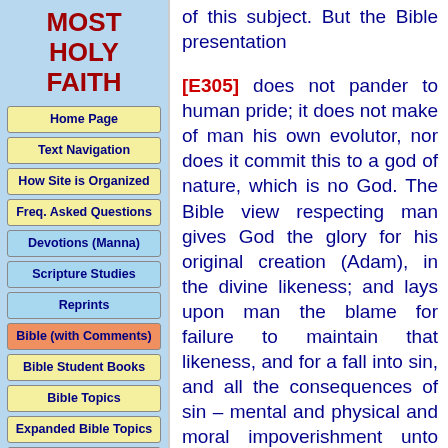MOST HOLY FAITH
Home Page
Text Navigation
How Site is Organized
Freq. Asked Questions
Devotions (Manna)
Scripture Studies
Reprints
Bible (with Comments)
Bible Student Books
Bible Topics
Expanded Bible Topics
Bible Student Webs
Miscellaneous
of this subject. But the Bible presentation

[E305] does not pander to human pride; it does not make of man his own evolutor, nor does it commit this to a god of nature, which is no God. The Bible view respecting man gives God the glory for his original creation (Adam), in the divine likeness; and lays upon man the blame for failure to maintain that likeness, and for a fall into sin, and all the consequences of sin – mental and physical and moral impoverishment unto death. The Bible view honors God again, in